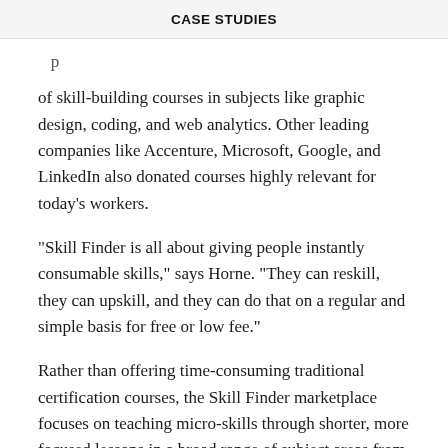CASE STUDIES
of skill-building courses in subjects like graphic design, coding, and web analytics. Other leading companies like Accenture, Microsoft, Google, and LinkedIn also donated courses highly relevant for today's workers.
"Skill Finder is all about giving people instantly consumable skills," says Horne. “They can reskill, they can upskill, and they can do that on a regular and simple basis for free or low fee."
Rather than offering time-consuming traditional certification courses, the Skill Finder marketplace focuses on teaching micro-skills through shorter, more focused lessons in a broad range of subject areas from cloud computing, security, and machine